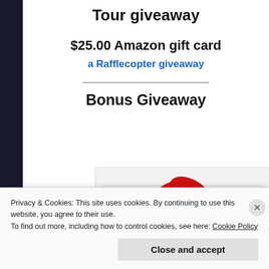Tour giveaway
$25.00 Amazon gift card
a Rafflecopter giveaway
Bonus Giveaway
[Figure (photo): A $100 gift card with a red bow ribbon on top, partially visible]
Privacy & Cookies: This site uses cookies. By continuing to use this website, you agree to their use.
To find out more, including how to control cookies, see here: Cookie Policy
Close and accept